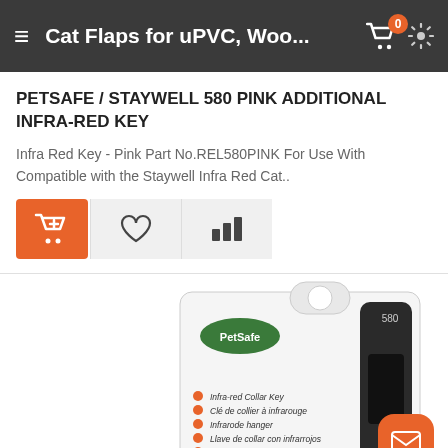Cat Flaps for uPVC, Woo...
PETSAFE / STAYWELL 580 PINK ADDITIONAL INFRA-RED KEY
Infra Red Key - Pink Part No.REL580PINK For Use With Compatible with the Staywell Infra Red Cat..
[Figure (photo): PetSafe 580 pink infra-red collar key product packaging showing the key attached to blister card with multilingual text listing infra-red collar key in multiple languages]
[Figure (other): Orange email/envelope contact button in bottom right corner]